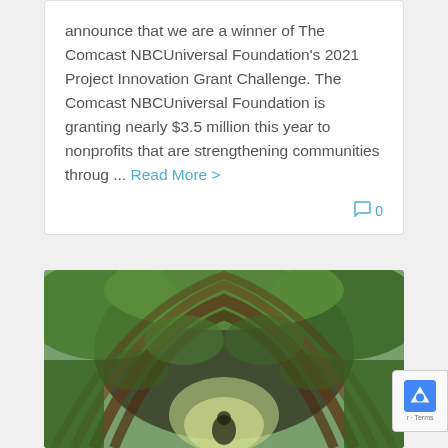announce that we are a winner of The Comcast NBCUniversal Foundation's 2021 Project Innovation Grant Challenge. The Comcast NBCUniversal Foundation is granting nearly $3.5 million this year to nonprofits that are strengthening communities throug ... Read More >
0
[Figure (photo): Photo of a person walking through a green vine-covered arched tunnel or pergola structure made of curved wooden beams, with lush greenery growing overhead]